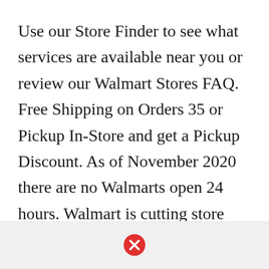Use our Store Finder to see what services are available near you or review our Walmart Stores FAQ. Free Shipping on Orders 35 or Pickup In-Store and get a Pickup Discount. As of November 2020 there are no Walmarts open 24 hours. Walmart is cutting store hours starting Sunday at its locations across the US. August 14 2020 208 pm.
[Figure (other): Gray footer bar with a red circle containing a white X (close button)]